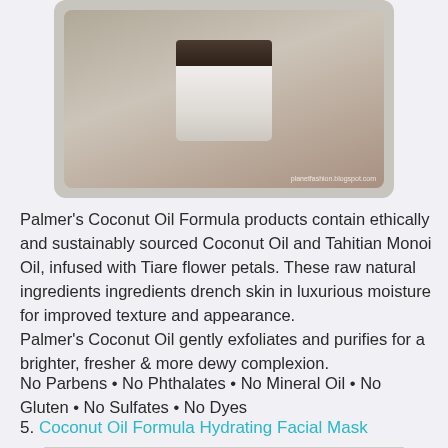[Figure (photo): Photo of Palmer's Coconut Oil Formula product jar with dark lid on a neutral background. Watermark reads 'planetfashion.blogspot.com']
Palmer's Coconut Oil Formula products contain ethically and sustainably sourced Coconut Oil and Tahitian Monoi Oil, infused with Tiare flower petals. These raw natural ingredients ingredients drench skin in luxurious moisture for improved texture and appearance.
Palmer's Coconut Oil gently exfoliates and purifies for a brighter, fresher & more dewy complexion.
No Parbens • No Phthalates • No Mineral Oil • No Gluten • No Sulfates • No Dyes
5. Coconut Oil Formula Hydrating Facial Mask
[Figure (photo): Photo of Palmer's Coconut Oil Formula Hydrating Facial Mask tube product, white packaging with red cap/label]